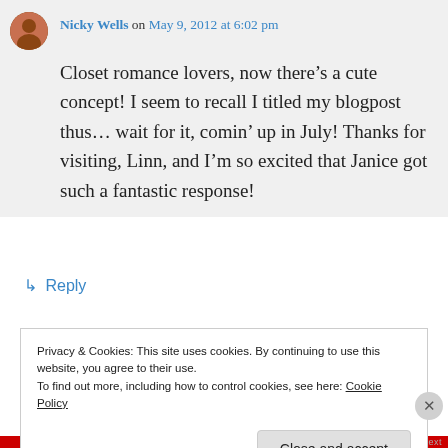Nicky Wells on May 9, 2012 at 6:02 pm
Closet romance lovers, now there’s a cute concept! I seem to recall I titled my blogpost thus… wait for it, comin’ up in July! Thanks for visiting, Linn, and I’m so excited that Janice got such a fantastic response!
↳ Reply
Privacy & Cookies: This site uses cookies. By continuing to use this website, you agree to their use.
To find out more, including how to control cookies, see here: Cookie Policy
Close and accept